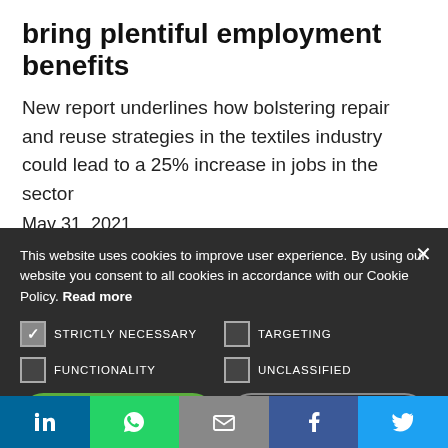bring plentiful employment benefits
New report underlines how bolstering repair and reuse strategies in the textiles industry could lead to a 25% increase in jobs in the sector
May 31, 2021
This website uses cookies to improve user experience. By using our website you consent to all cookies in accordance with our Cookie Policy. Read more
STRICTLY NECESSARY  TARGETING  FUNCTIONALITY  UNCLASSIFIED
I AGREE  I DISAGREE
[Figure (infographic): Social share bar with LinkedIn, WhatsApp, email, Facebook, and Twitter icons]